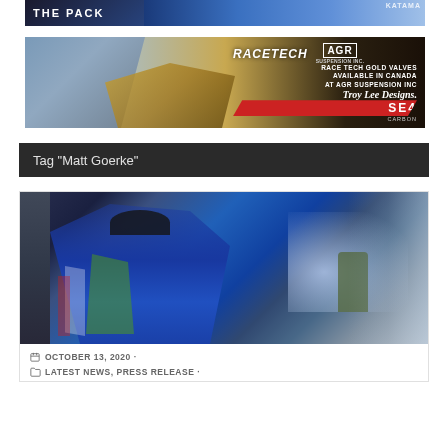[Figure (photo): Motocross banner with 'THE PACK' text and rider on dirt bike]
[Figure (photo): Race Tech and AGR Suspension Inc advertisement banner with Troy Lee Designs SE4 Carbon helmet promotion]
Tag "Matt Goerke"
[Figure (photo): Motocross rider in blue Monster Energy Kawasaki gear spraying champagne bottle in celebration]
OCTOBER 13, 2020 ·
LATEST NEWS, PRESS RELEASE ·